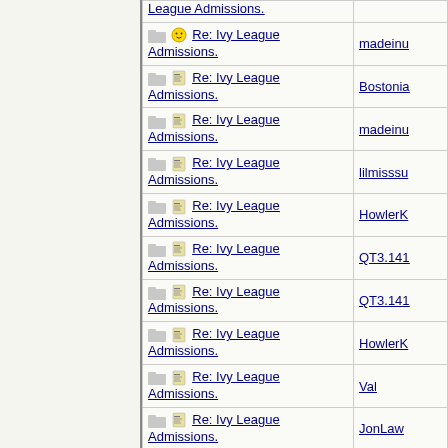| Topic | Author |
| --- | --- |
| League Admissions. |  |
| Re: Ivy League Admissions. | madeinu |
| Re: Ivy League Admissions. | Bostonia |
| Re: Ivy League Admissions. | madeinu |
| Re: Ivy League Admissions. | lilmisssu |
| Re: Ivy League Admissions. | HowlerK |
| Re: Ivy League Admissions. | QT3.141 |
| Re: Ivy League Admissions. | QT3.141 |
| Re: Ivy League Admissions. | HowlerK |
| Re: Ivy League Admissions. | Val |
| Re: Ivy League Admissions. | JonLaw |
| Re: Ivy League Admissions. |  |